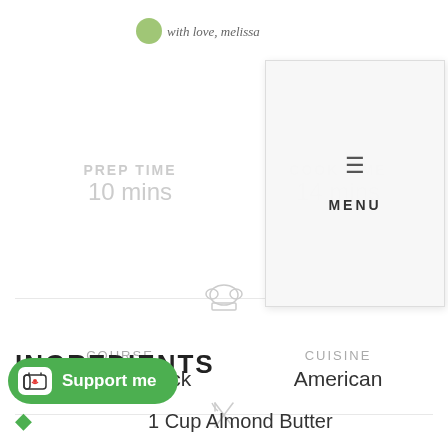with love, melissa
[Figure (screenshot): Navigation menu overlay with hamburger icon and MENU text on light gray background]
PREP TIME
10 mins
COOK TIME
14 mins
[Figure (illustration): Chef hat icon divider]
COURSE
Dessert, Snack
CUISINE
American
[Figure (illustration): Crossed fork and knife icon divider]
SERVINGS
12 Cookies
INGREDIENTS
1 Cup Almond Butter
[Figure (illustration): Ko-fi Support me button with heart cup icon on green rounded pill background]